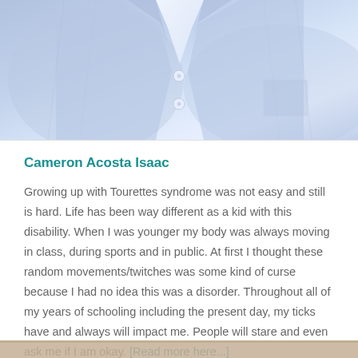[Figure (photo): Close-up photo of a person wearing a light blue button-up shirt with collar visible, cropped at the top of the page]
Cameron Acosta Isaac
Growing up with Tourettes syndrome was not easy and still is hard. Life has been way different as a kid with this disability. When I was younger my body was always moving in class, during sports and in public. At first I thought these random movements/twitches was some kind of curse because I had no idea this was a disorder. Throughout all of my years of schooling including the present day, my ticks have and always will impact me. People will stare and even ask me if I am okay. [Read more here...]
[Figure (photo): Partial image at bottom of page, appears to be a tan/beige colored photo strip]